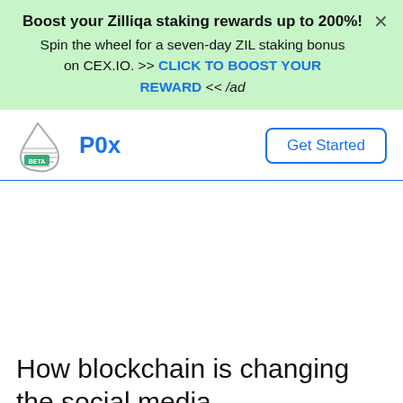Boost your Zilliqa staking rewards up to 200%! Spin the wheel for a seven-day ZIL staking bonus on CEX.IO. >> CLICK TO BOOST YOUR REWARD << /ad
[Figure (logo): P0x logo with a water droplet icon labeled BETA and the text P0x in blue]
Get Started
How blockchain is changing the social media.
By [author] | [category] ... Started 29 Jun 2021